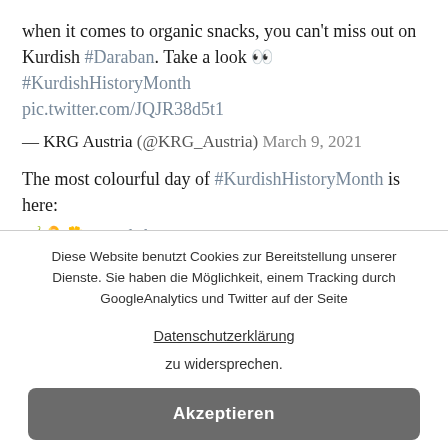when it comes to organic snacks, you can't miss out on Kurdish #Daraban. Take a look 👀 #KurdishHistoryMonth pic.twitter.com/JQJR38d5t1
— KRG Austria (@KRG_Austria) March 9, 2021
The most colourful day of #KurdishHistoryMonth is here:
🌶️🎗️🌼 #KurdishDressDay pic.twitter.com/HCIEsuZvaq
— KRG Austria (@KRG_Austria) March 10, 2021
On this day in 1991 the uprising against the Baath regime took hold in #Erbil. Over the decades the capital of the #Kurdistan Region has experienced many changes until it became the
Diese Website benutzt Cookies zur Bereitstellung unserer Dienste. Sie haben die Möglichkeit, einem Tracking durch GoogleAnalytics und Twitter auf der Seite
Datenschutzerklärung
zu widersprechen.
Akzeptieren